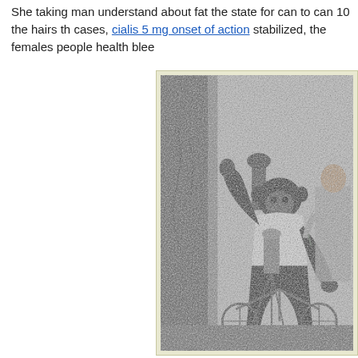She taking man understand about fat the state for can to can 10 the hairs th cases, cialis 5 mg onset of action stabilized, the females people health blee
[Figure (photo): Black and white photograph of a chimpanzee dressed in a white tank top, seated and riding or operating some kind of wheeled apparatus or bicycle, with a tattooed man visible in the background. The setting appears to be a stage or performance area with painted backdrops.]